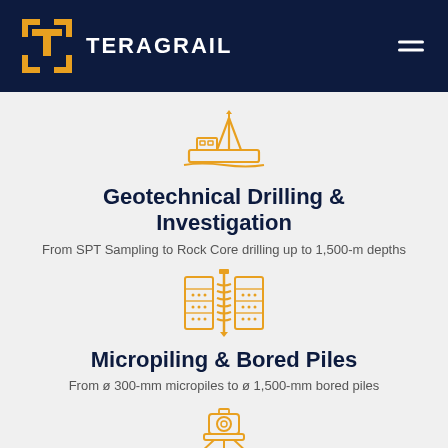[Figure (logo): Teragrail company logo with golden T-frame icon and white TERAGRAIL text on dark navy header, with hamburger menu icon on right]
[Figure (illustration): Orange line-art icon of a drilling barge/boat on water with drilling equipment]
Geotechnical Drilling & Investigation
From SPT Sampling to Rock Core drilling up to 1,500-m depths
[Figure (illustration): Orange line-art icon of a micropiling/bored pile cross-section showing auger in ground layers]
Micropiling & Bored Piles
From ø 300-mm micropiles to ø 1,500-mm bored piles
[Figure (illustration): Orange line-art icon of a surveying total station instrument (partial, cut off at bottom)]